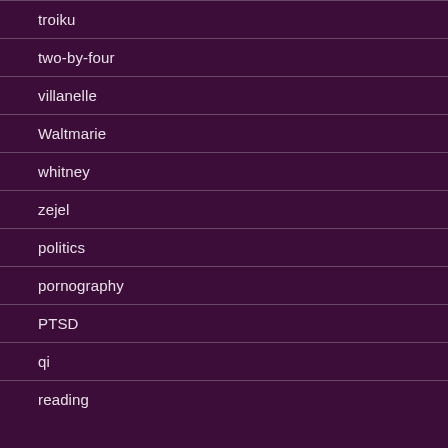troiku
two-by-four
villanelle
Waltmarie
whitney
zejel
politics
pornography
PTSD
qi
reading